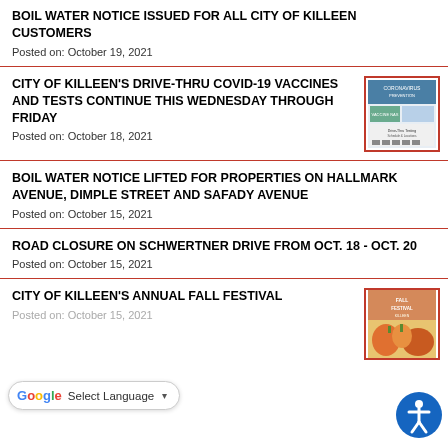BOIL WATER NOTICE ISSUED FOR ALL CITY OF KILLEEN CUSTOMERS
Posted on: October 19, 2021
CITY OF KILLEEN'S DRIVE-THRU COVID-19 VACCINES AND TESTS CONTINUE THIS WEDNESDAY THROUGH FRIDAY
Posted on: October 18, 2021
[Figure (other): COVID-19 vaccine/test flyer thumbnail]
BOIL WATER NOTICE LIFTED FOR PROPERTIES ON HALLMARK AVENUE, DIMPLE STREET AND SAFADY AVENUE
Posted on: October 15, 2021
ROAD CLOSURE ON SCHWERTNER DRIVE FROM OCT. 18 - OCT. 20
Posted on: October 15, 2021
CITY OF KILLEEN'S ANNUAL FALL FESTIVAL
Posted on: October 13, 2021
[Figure (other): Fall Festival event flyer thumbnail]